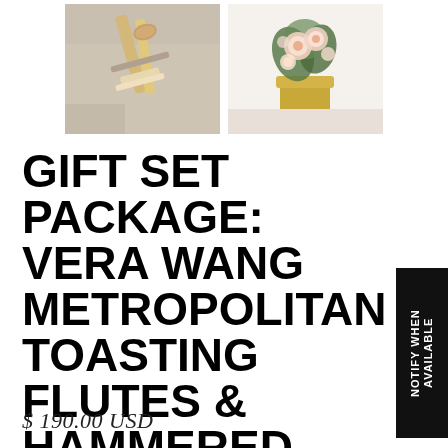[Figure (photo): Two thumbnail photos side by side: left thumbnail shows gold cake server utensils on a gray surface, right thumbnail shows a floral arrangement in a gold vase]
GIFT SET PACKAGE: VERA WANG METROPOLITAN TOASTING FLUTES & HAMMERED GOLD CAKE SERVER SET
NOTIFY WHEN AVAILABLE
$ 190.00 USD